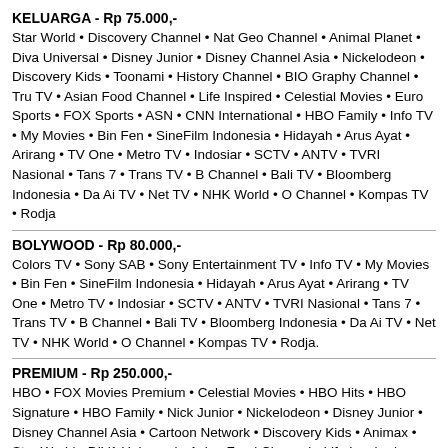KELUARGA - Rp 75.000,-
Star World • Discovery Channel • Nat Geo Channel • Animal Planet • Diva Universal • Disney Junior • Disney Channel Asia • Nickelodeon • Discovery Kids • Toonami • History Channel • BIO Graphy Channel • Tru TV • Asian Food Channel • Life Inspired • Celestial Movies • Euro Sports • FOX Sports • ASN • CNN International • HBO Family • Info TV • My Movies • Bin Fen • SineFilm Indonesia • Hidayah • Arus Ayat • Arirang • TV One • Metro TV • Indosiar • SCTV • ANTV • TVRI Nasional • Tans 7 • Trans TV • B Channel • Bali TV • Bloomberg Indonesia • Da Ai TV • Net TV • NHK World • O Channel • Kompas TV • Rodja
BOLYWOOD - Rp 80.000,-
Colors TV • Sony SAB • Sony Entertainment TV • Info TV • My Movies • Bin Fen • SineFilm Indonesia • Hidayah • Arus Ayat • Arirang • TV One • Metro TV • Indosiar • SCTV • ANTV • TVRI Nasional • Tans 7 • Trans TV • B Channel • Bali TV • Bloomberg Indonesia • Da Ai TV • Net TV • NHK World • O Channel • Kompas TV • Rodja.
PREMIUM - Rp 250.000,-
HBO • FOX Movies Premium • Celestial Movies • HBO Hits • HBO Signature • HBO Family • Nick Junior • Nickelodeon • Disney Junior • Disney Channel Asia • Cartoon Network • Discovery Kids • Animax • Star World • DIVA Universal • Asian Food Channel • Life Inspired • AXN • Animal Planet • Discovery Channel • Nat Geo Channel • History Channel •